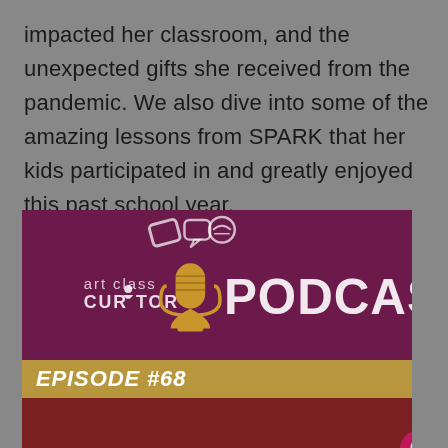impacted her classroom, and the unexpected gifts she received from the pandemic. We also dive into some of the amazing lessons from SPARK that her kids participated in and greatly enjoyed this past school year.
[Figure (screenshot): Art Class Curator Podcast Episode #68 thumbnail image showing the podcast logo with a golden microphone on a dark magenta/purple background, episode number bar in gold, and a person's head at the bottom. UI overlays include a heart/like button, share count of 38, share button, and a 'What's Next' banner for Play-based Art Education.]